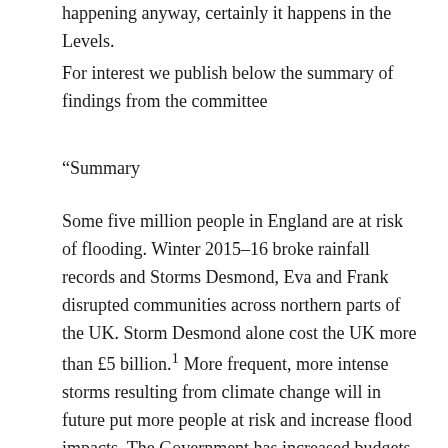happening anyway, certainly it happens in the Levels.
For interest we publish below the summary of findings from the committee
“Summary
Some five million people in England are at risk of flooding. Winter 2015–16 broke rainfall records and Storms Desmond, Eva and Frank disrupted communities across northern parts of the UK. Storm Desmond alone cost the UK more than £5 billion.1 More frequent, more intense storms resulting from climate change will in future put more people at risk and increase flood impacts. The Government has increased budgets for flood risk management, but this level of funding is unlikely to deliver sufficient protection in future decades. The Government must publish by the end of 2017 its 25-year ambition for flood risk reduction, and the cost of securing this, against different climate